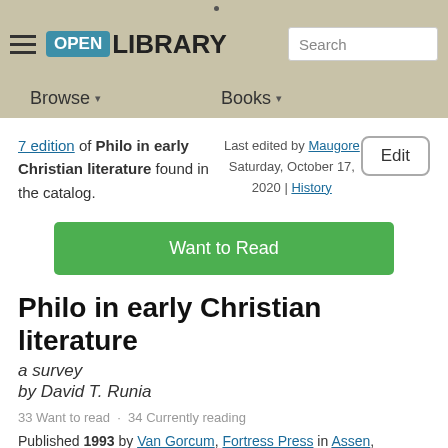Open Library — Browse, Books, Search
7 edition of Philo in early Christian literature found in the catalog.
Last edited by Maugore
Saturday, October 17, 2020 | History
Edit
Want to Read
Philo in early Christian literature
a survey
by David T. Runia
33 Want to read  ·  34 Currently reading
Published 1993 by Van Gorcum, Fortress Press in Assen, Minneapolis